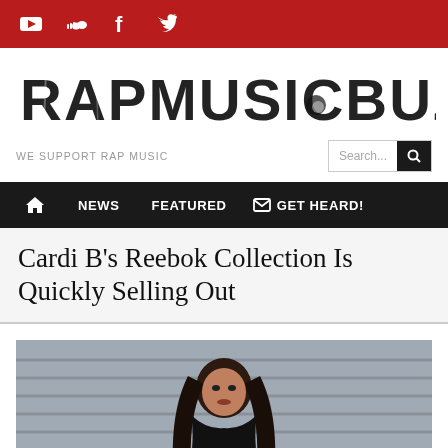Social media icons: YouTube, SoundCloud, Facebook, Twitter
[Figure (logo): RapMusicBuzz logo in distressed grunge font style]
WE SUPPORT RAP MUSIC
Navigation: Home, NEWS, FEATURED, GET HEARD!
Cardi B's Reebok Collection Is Quickly Selling Out
[Figure (photo): Photo of Cardi B with long dark hair against a grey background]